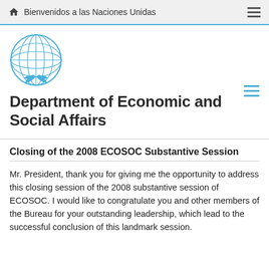Bienvenidos a las Naciones Unidas
[Figure (logo): United Nations emblem logo in blue]
Department of Economic and Social Affairs
Closing of the 2008 ECOSOC Substantive Session
Mr. President, thank you for giving me the opportunity to address this closing session of the 2008 substantive session of ECOSOC. I would like to congratulate you and other members of the Bureau for your outstanding leadership, which lead to the successful conclusion of this landmark session.